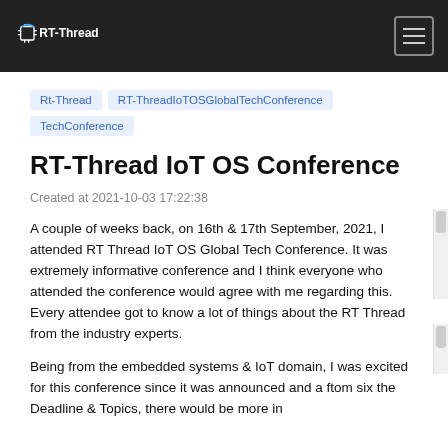RT-Thread
Rt-Thread
RT-ThreadIoTOSGlobalTechConference
TechConference
RT-Thread IoT OS Conference
Created at 2021-10-03 17:22:38
A couple of weeks back, on 16th & 17th September, 2021, I attended RT Thread IoT OS Global Tech Conference. It was extremely informative conference and I think everyone who attended the conference would agree with me regarding this. Every attendee got to know a lot of things about the RT Thread from the industry experts.
Being from the embedded systems & IoT domain, I was excited for this conference since it was announced and a ftom six the Deadline & Topics, there would be more in